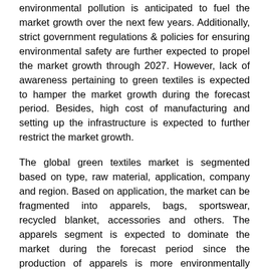environmental pollution is anticipated to fuel the market growth over the next few years. Additionally, strict government regulations & policies for ensuring environmental safety are further expected to propel the market growth through 2027. However, lack of awareness pertaining to green textiles is expected to hamper the market growth during the forecast period. Besides, high cost of manufacturing and setting up the infrastructure is expected to further restrict the market growth.
The global green textiles market is segmented based on type, raw material, application, company and region. Based on application, the market can be fragmented into apparels, bags, sportswear, recycled blanket, accessories and others. The apparels segment is expected to dominate the market during the forecast period since the production of apparels is more environmentally friendly.